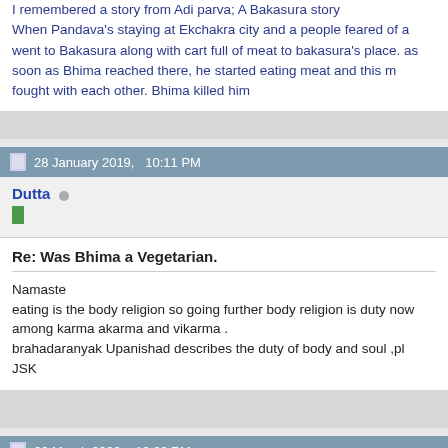I remembered a story from Adi parva; A Bakasura story When Pandava's staying at Ekchakra city and a people feared of a went to Bakasura along with cart full of meat to bakasura's place. as soon as Bhima reached there, he started eating meat and this fought with each other. Bhima killed him
28 January 2019,   10:11 PM
Dutta
Re: Was Bhima a Vegetarian.
Namaste
eating is the body religion so going further body religion is duty now among karma akarma and vikarma .
brahadaranyak Upanishad describes the duty of body and soul ,pl
JSK
29 March 2020,   12:00 PM